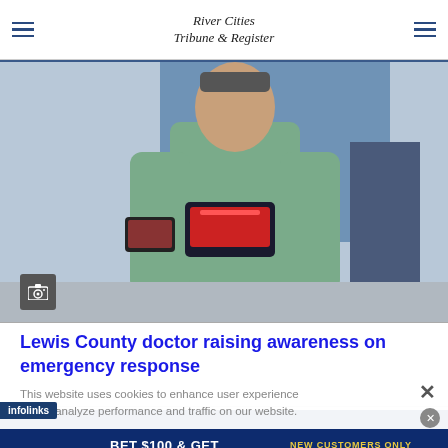River Cities Tribune & Register
[Figure (photo): Person in medical scrubs holding a device, standing in a clinical setting. Camera badge icon visible in lower left of image.]
Lewis County doctor raising awareness on emergency response
This website uses cookies to enhance user experience and to analyze performance and traffic on our website.
[Figure (infographic): WynnBET Sportsbook advertisement: BET $100 & GET $100 FREE BET. NEW CUSTOMERS ONLY. BET NOW button.]